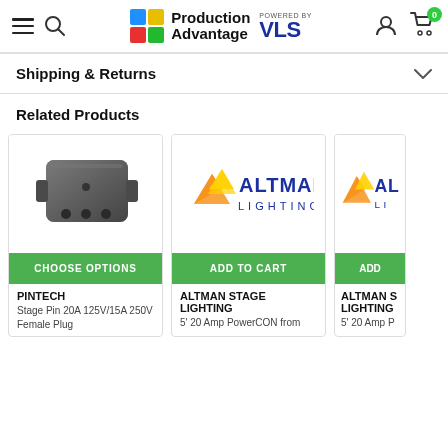Production Advantage Powered by VLS
Shipping & Returns
Related Products
[Figure (photo): Stage Pin 20A 125V/15A 250V Female Plug connector product photo, dark grey plug body]
CHOOSE OPTIONS
PINTECH
Stage Pin 20A 125V/15A 250V Female Plug
[Figure (logo): Altman Lighting logo with mountain peak graphic in orange/yellow and blue text]
ADD TO CART
ALTMAN STAGE LIGHTING
5' 20 Amp PowerCON from
[Figure (logo): Altman Lighting logo partial, cropped on right edge]
ADD
ALTMAN STAGE LIGHTING
5' 20 Amp P